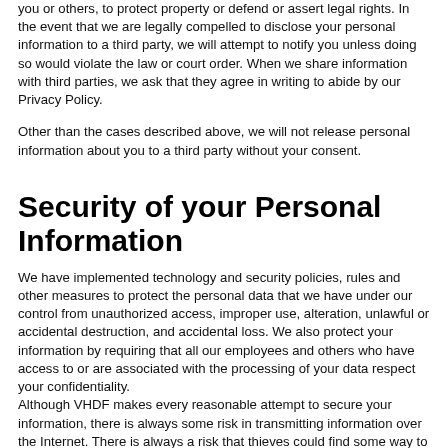you or others, to protect property or defend or assert legal rights. In the event that we are legally compelled to disclose your personal information to a third party, we will attempt to notify you unless doing so would violate the law or court order. When we share information with third parties, we ask that they agree in writing to abide by our Privacy Policy.
Other than the cases described above, we will not release personal information about you to a third party without your consent.
Security of your Personal Information
We have implemented technology and security policies, rules and other measures to protect the personal data that we have under our control from unauthorized access, improper use, alteration, unlawful or accidental destruction, and accidental loss. We also protect your information by requiring that all our employees and others who have access to or are associated with the processing of your data respect your confidentiality.
Although VHDF makes every reasonable attempt to secure your information, there is always some risk in transmitting information over the Internet. There is always a risk that thieves could find some way to circumvent our security systems. Although we take appropriate measures to protect your information, we cannot guarantee that the personal information that we collect will never be disclose that is inconsistent with this Privacy Policy.